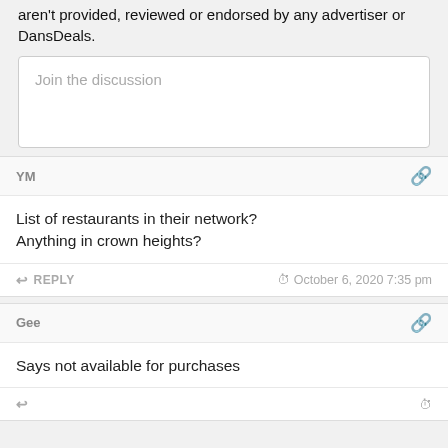aren't provided, reviewed or endorsed by any advertiser or DansDeals.
Join the discussion
YM
List of restaurants in their network?
Anything in crown heights?
REPLY  October 6, 2020 7:35 pm
Gee
Says not available for purchases